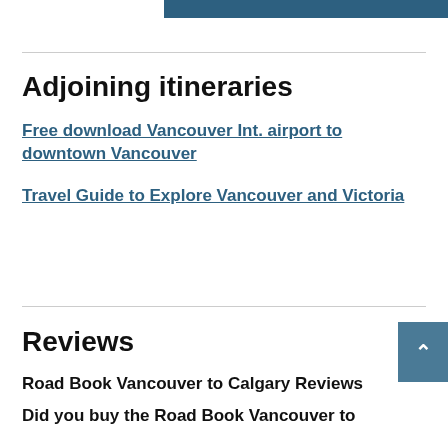[Figure (other): Dark teal/blue horizontal banner strip at top of page]
Adjoining itineraries
Free download Vancouver Int. airport to downtown Vancouver
Travel Guide to Explore Vancouver and Victoria
Reviews
Road Book Vancouver to Calgary Reviews
Did you buy the Road Book Vancouver to